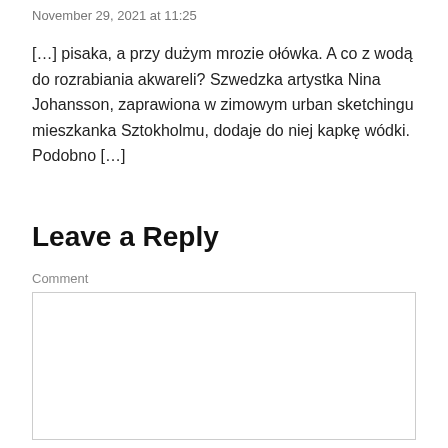November 29, 2021 at 11:25
[…] pisaka, a przy dużym mrozie ołówka. A co z wodą do rozrabiania akwareli? Szwedzka artystka Nina Johansson, zaprawiona w zimowym urban sketchingu mieszkanka Sztokholmu, dodaje do niej kapkę wódki. Podobno […]
Leave a Reply
Comment